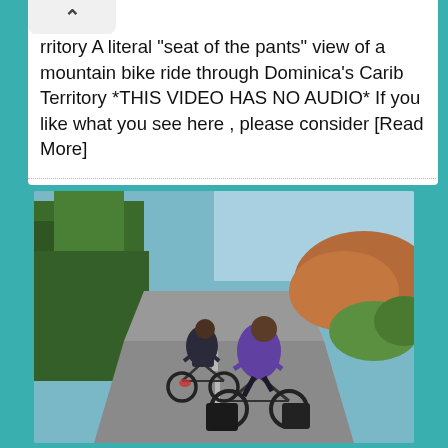rritory A literal "seat of the pants" view of a mountain bike ride through Dominica's Carib Territory *THIS VIDEO HAS NO AUDIO* If you like what you see here , please consider [Read More]
[Figure (photo): Two cyclists riding away from camera on a paved road through tropical landscape. The cyclist in front wears a purple shirt and has black panniers on the rear of the bike. The cyclist behind wears dark clothing and carries a backpack. Green tropical trees line the left side; bright sky and reddish earth visible on the right.]